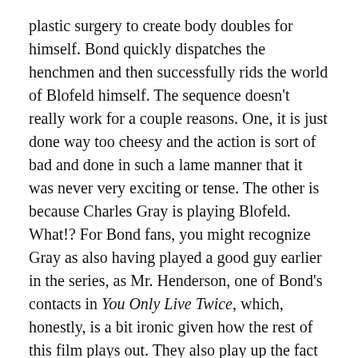plastic surgery to create body doubles for himself. Bond quickly dispatches the henchmen and then successfully rids the world of Blofeld himself. The sequence doesn't really work for a couple reasons. One, it is just done way too cheesy and the action is sort of bad and done in such a lame manner that it was never very exciting or tense. The other is because Charles Gray is playing Blofeld. What!? For Bond fans, you might recognize Gray as also having played a good guy earlier in the series, as Mr. Henderson, one of Bond's contacts in You Only Live Twice, which, honestly, is a bit ironic given how the rest of this film plays out. They also play up the fact that this is Connery's return by slowly waiting to reveal the face of Bond, which might work if you didn't know it was Connery's return.
The theme song and credit sequence, however, seem to redeem the lame opening. The credit sequence may be